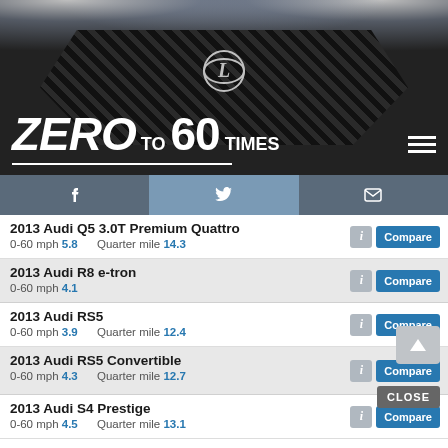[Figure (photo): Lexus car front grille close-up with headlights, used as website header background]
ZERO TO 60 TIMES
2013 Audi Q5 3.0T Premium Quattro | 0-60 mph 5.8 | Quarter mile 14.3
2013 Audi R8 e-tron | 0-60 mph 4.1
2013 Audi RS5 | 0-60 mph 3.9 | Quarter mile 12.4
2013 Audi RS5 Convertible | 0-60 mph 4.3 | Quarter mile 12.7
2013 Audi S4 Prestige | 0-60 mph 4.5 | Quarter mile 13.1